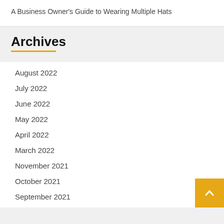A Business Owner's Guide to Wearing Multiple Hats
Archives
August 2022
July 2022
June 2022
May 2022
April 2022
March 2022
November 2021
October 2021
September 2021